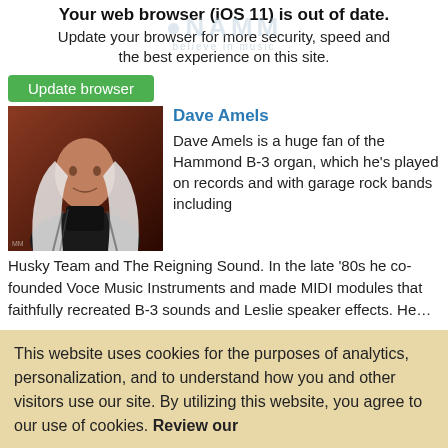Your web browser (iOS 11) is out of date. Update your browser for more security, speed and the best experience on this site.
Update browser
Dave Amels
[Figure (photo): Photo of Dave Amels, a man with long white hair wearing a dark jacket, against a reddish-brown background. NAMM Advocacy Program watermark visible.]
Dave Amels is a huge fan of the Hammond B-3 organ, which he's played on records and with garage rock bands including Husky Team and The Reigning Sound. In the late '80s he co-founded Voce Music Instruments and made MIDI modules that faithfully recreated B-3 sounds and Leslie speaker effects. He…
Hammond B-3, MIDI, Pro Tools, Plug-ins, Music Manufacturing, Product Engineers, Synthesizers
This website uses cookies for the purposes of analytics, personalization, and to understand how you and other visitors use our site. By utilizing this website, you agree to our use of cookies. Review our